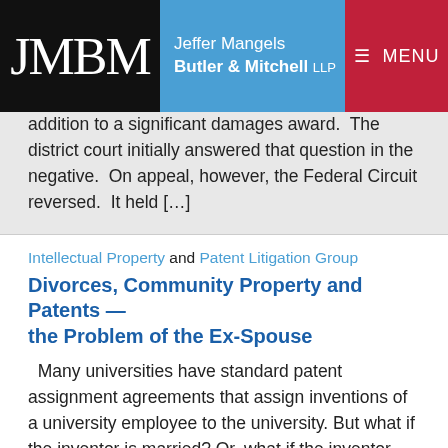JMBM — Jeffer Mangels Butler & Mitchell LLP — MENU
addition to a significant damages award.  The district court initially answered that question in the negative.  On appeal, however, the Federal Circuit reversed.  It held […]
Intellectual Property and Patent Litigation Group
Divorces, Community Property and Patents — the Problem of the Ex-Spouse
Many universities have standard patent assignment agreements that assign inventions of a university employee to the university. But what if the inventor is married? Or, what if the inventor marries during his or her employment and the invention is created during the marriage? Does the spouse have rights to the invention? Parties to patent […]